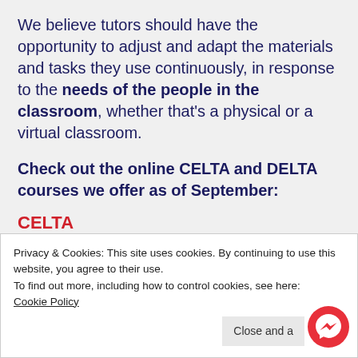We believe tutors should have the opportunity to adjust and adapt the materials and tasks they use continuously, in response to the needs of the people in the classroom, whether that's a physical or a virtual classroom.
Check out the online CELTA and DELTA courses we offer as of September:
CELTA
DELTA Module One
Privacy & Cookies: This site uses cookies. By continuing to use this website, you agree to their use.
To find out more, including how to control cookies, see here: Cookie Policy